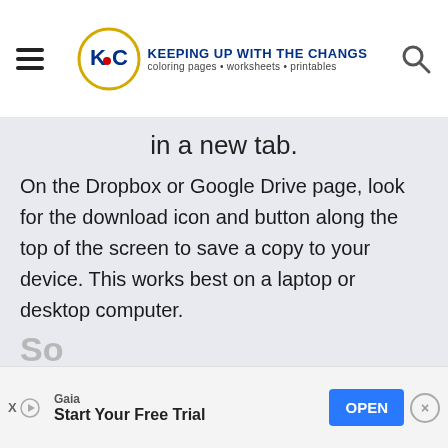KEEPING UP WITH THE CHANGS coloring pages • worksheets • printables
in a new tab.
On the Dropbox or Google Drive page, look for the download icon and button along the top of the screen to save a copy to your device. This works best on a laptop or desktop computer.
Gaia Start Your Free Trial OPEN